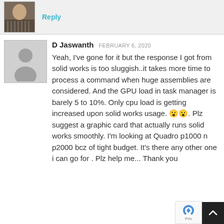[Figure (screenshot): Top bar with user avatar thumbnail and blue Reply link]
D Jaswanth FEBRUARY 6, 2020
Yeah, I've gone for it but the response I got from solid works is too sluggish..it takes more time to process a command when huge assemblies are considered. And the GPU load in task manager is barely 5 to 10%. Only cpu load is getting increased upon solid works usage. 😮😮. Plz suggest a graphic card that actually runs solid works smoothly. I'm looking at Quadro p1000 n p2000 bcz of tight budget. It's there any other one i can go for . Plz help me... Thank you